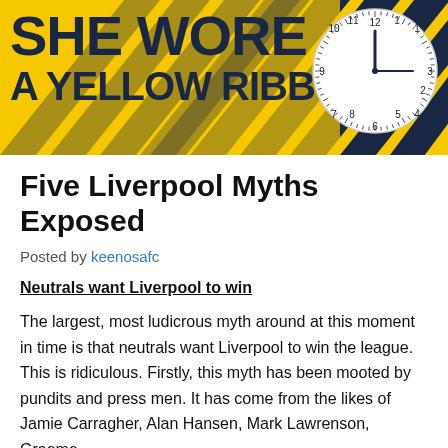[Figure (logo): She Wore A Yellow Ribbon blog banner with yellow and black diagonal stripes background, bold dark navy text reading 'SHE WORE A YELLOW RIBBON', and a clock face on the right showing approximately 12:15]
Five Liverpool Myths Exposed
Posted by keenosafc
Neutrals want Liverpool to win
The largest, most ludicrous myth around at this moment in time is that neutrals want Liverpool to win the league. This is ridiculous. Firstly, this myth has been mooted by pundits and press men. It has come from the likes of Jamie Carragher, Alan Hansen, Mark Lawrenson, Graeme